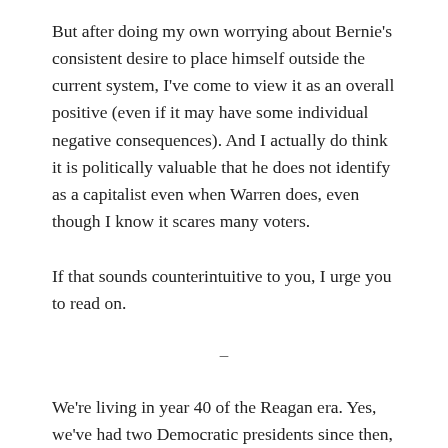But after doing my own worrying about Bernie's consistent desire to place himself outside the current system, I've come to view it as an overall positive (even if it may have some individual negative consequences). And I actually do think it is politically valuable that he does not identify as a capitalist even when Warren does, even though I know it scares many voters.
If that sounds counterintuitive to you, I urge you to read on.
–
We're living in year 40 of the Reagan era. Yes, we've had two Democratic presidents since then, but the entire political conversation during this period of time, from both parties, has been dominated by one baseline